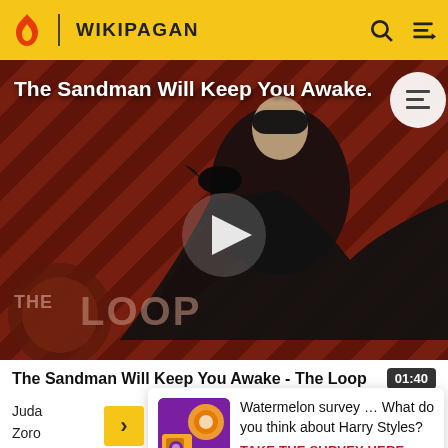WIKIPAGAN
[Figure (screenshot): Video thumbnail for 'The Sandman Will Keep You Awake - The Loop' showing a dark-cloaked figure with a raven against a dark red diagonal striped background. A play button triangle is centered. 'The Loop' logo appears bottom left. Table of contents icon top right.]
The Sandman Will Keep You Awake - The Loop
Juda
Zoro
to tell
Watermelon survey … What do you think about Harry Styles?
TAKE THE SURVEY HERE